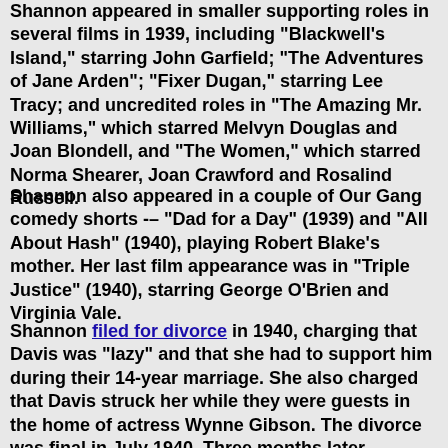Shannon appeared in smaller supporting roles in several films in 1939, including "Blackwell's Island," starring John Garfield; "The Adventures of Jane Arden"; "Fixer Dugan," starring Lee Tracy; and uncredited roles in "The Amazing Mr. Williams," which starred Melvyn Douglas and Joan Blondell, and "The Women," which starred Norma Shearer, Joan Crawford and Rosalind Russell.
Shannon also appeared in a couple of Our Gang comedy shorts -- "Dad for a Day" (1939) and "All About Hash" (1940), playing Robert Blake's mother. Her last film appearance was in "Triple Justice" (1940), starring George O'Brien and Virginia Vale.
Shannon filed for divorce in 1940, charging that Davis was "lazy" and that she had to support him during their 14-year marriage. She also charged that Davis struck her while they were guests in the home of actress Wynne Gibson. The divorce was final in July 1940. Three months later, Shannon married studio cameraman Albert G. Roberts in Mexico.